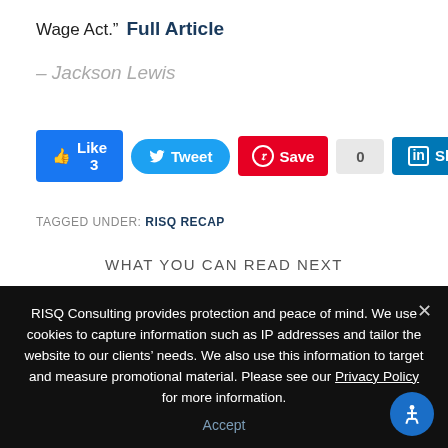Wage Act.”  Full Article
– Jackson Lewis
[Figure (other): Social sharing buttons: Facebook Like 3, Tweet, Pinterest Save, 0 count, LinkedIn Share]
TAGGED UNDER: RISQ RECAP
WHAT YOU CAN READ NEXT
RISQ Consulting provides protection and peace of mind. We use cookies to capture information such as IP addresses and tailor the website to our clients’ needs. We also use this information to target and measure promotional material. Please see our Privacy Policy for more information.
Accept